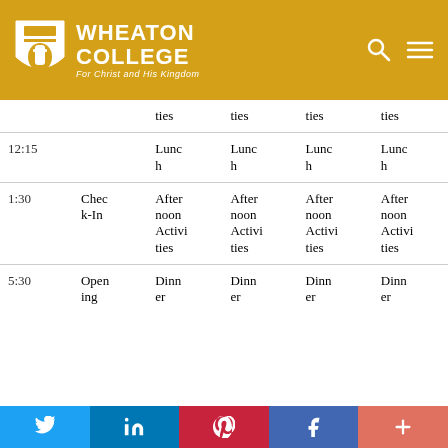[Figure (logo): Wheaton College logo with shield and text 'WHEATON COLLEGE For Christ and His Kingdom' on gold header with search and menu icons]
| Time |  | Col1 | Col2 | Col3 | Col4 |
| --- | --- | --- | --- | --- | --- |
|  |  | ties | ties | ties | ties |
| 12:15 |  | Lunch | Lunch | Lunch | Lunch |
| 1:30 | Check-In | Afternoon Activities | Afternoon Activities | Afternoon Activities | Afternoon Activities |
| 5:30 | Opening | Dinner | Dinner | Dinner | Dinner |
[Figure (infographic): Social media footer bar with Twitter, LinkedIn, Pinterest, Facebook, and More buttons]